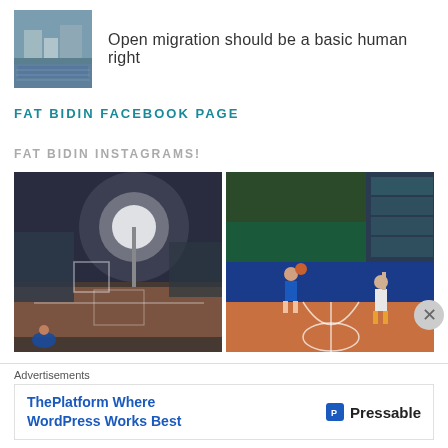[Figure (photo): Small thumbnail photo of a waterfront/harbor scene with buildings and water]
Open migration should be a basic human right
FAT BIDIN FACEBOOK PAGE
FAT BIDIN INSTAGRAMS!
[Figure (photo): Night sports field scene with bright stadium lights and hazy atmosphere, running track visible]
[Figure (photo): Indoor basketball court with players, blue and green walls, large windows]
Advertisements
[Figure (infographic): Advertisement banner: ThePlatform Where WordPress Works Best - Pressable]